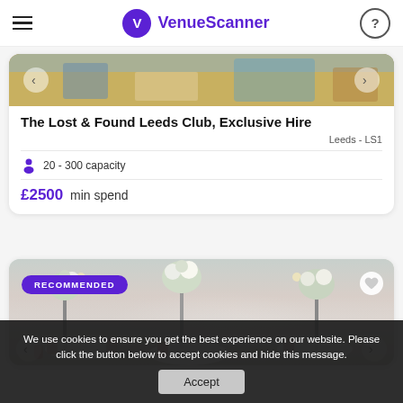VenueScanner
[Figure (photo): Top portion of venue interior photo for The Lost & Found Leeds Club]
The Lost & Found Leeds Club, Exclusive Hire
Leeds - LS1
20 - 300 capacity
£2500 min spend
[Figure (photo): Ballroom event venue photo with white floral centrepieces on tall stands, round tables with pink chair covers, labelled RECOMMENDED]
We use cookies to ensure you get the best experience on our website. Please click the button below to accept cookies and hide this message.
Accept